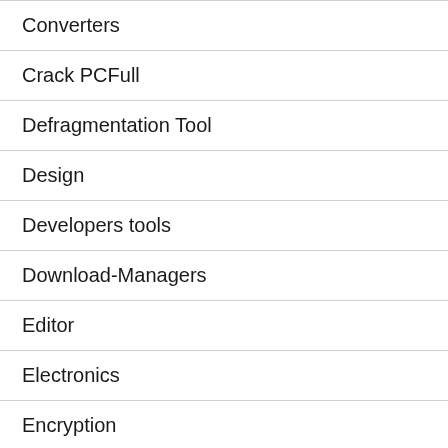Converters
Crack PCFull
Defragmentation Tool
Design
Developers tools
Download-Managers
Editor
Electronics
Encryption